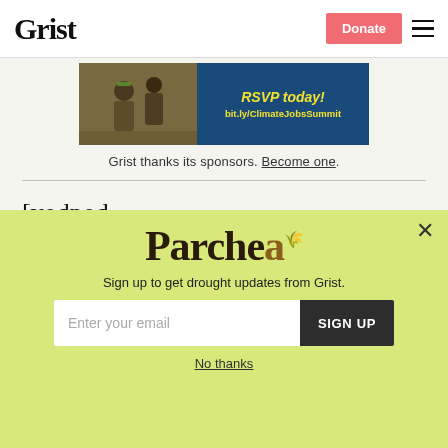Grist | Donate | Menu
[Figure (photo): Banner advertisement for Climate Jobs Summit with text 'RSVP today! bit.ly/ClimateJobsSummit' on blue background, with photo of workers on left]
Grist thanks its sponsors. Become one.
[vodpod id=Groupvideo.10775219&w=425&h=350&fv d...%2Dre%2Dfr...%2C%2Bwidth%2D...
[Figure (screenshot): Parchea modal overlay popup on lime-green background with title 'Parchea', subtitle 'Sign up to get drought updates from Grist.', email input field and SIGN UP button, and 'No thanks' link at bottom]